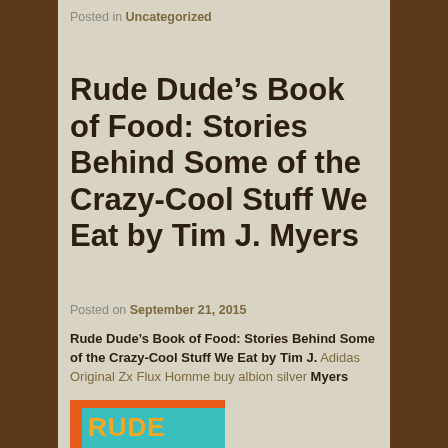Posted in Uncategorized
Rude Dude’s Book of Food: Stories Behind Some of the Crazy-Cool Stuff We Eat by Tim J. Myers
Posted on September 21, 2015
Rude Dude’s Book of Food: Stories Behind Some of the Crazy-Cool Stuff We Eat by Tim J. Adidas Original Zx Flux Homme buy albion silver Myers
[Figure (illustration): Book cover of Rude Dude’s Book of Food with orange and teal background, colorful title text]